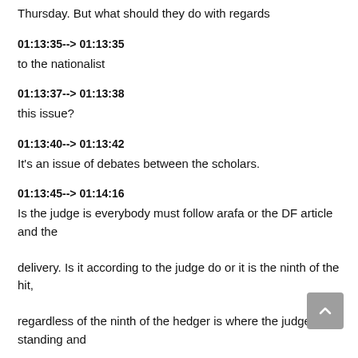Thursday. But what should they do with regards
01:13:35--> 01:13:35
to the nationalist
01:13:37--> 01:13:38
this issue?
01:13:40--> 01:13:42
It's an issue of debates between the scholars.
01:13:45--> 01:14:16
Is the judge is everybody must follow arafa or the DF article and the delivery. Is it according to the judge do or it is the ninth of the hit, regardless of the ninth of the hedger is where the judge standing and BEB or not. When basically the ninth of the hedger is the death of the